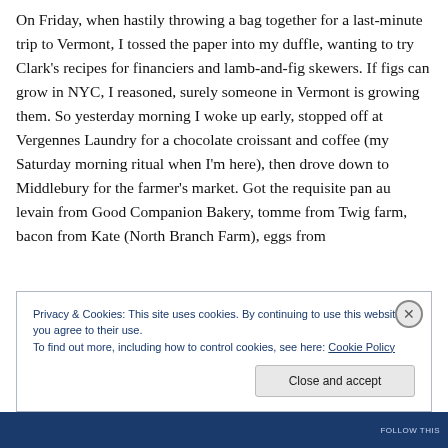On Friday, when hastily throwing a bag together for a last-minute trip to Vermont, I tossed the paper into my duffle, wanting to try Clark's recipes for financiers and lamb-and-fig skewers. If figs can grow in NYC, I reasoned, surely someone in Vermont is growing them. So yesterday morning I woke up early, stopped off at Vergennes Laundry for a chocolate croissant and coffee (my Saturday morning ritual when I'm here), then drove down to Middlebury for the farmer's market. Got the requisite pan au levain from Good Companion Bakery, tomme from Twig farm, bacon from Kate (North Branch Farm), eggs from
Privacy & Cookies: This site uses cookies. By continuing to use this website, you agree to their use.
To find out more, including how to control cookies, see here: Cookie Policy
Close and accept